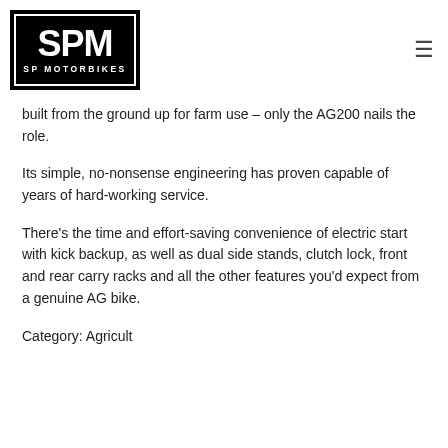[Figure (logo): SP Motorbikes logo — black rectangle with white bold letters SPM and text SP MOTORBIKES below, with inner white border frame]
built from the ground up for farm use – only the AG200 nails the role.
Its simple, no-nonsense engineering has proven capable of years of hard-working service.
There's the time and effort-saving convenience of electric start with kick backup, as well as dual side stands, clutch lock, front and rear carry racks and all the other features you'd expect from a genuine AG bike.
Category: Agricult…